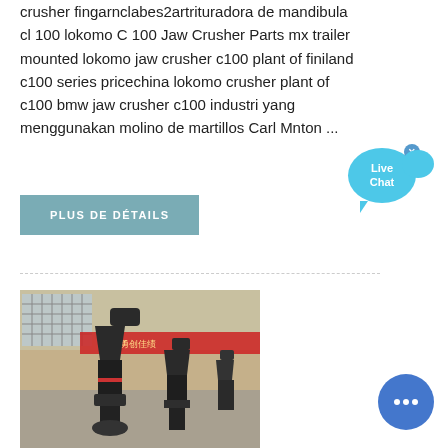crusher fingarnclabes2artrituradora de mandibula cl 100 lokomo C 100 Jaw Crusher Parts mx trailer mounted lokomo jaw crusher c100 plant of finiland c100 series pricechina lokomo crusher plant of c100 bmw jaw crusher c100 industri yang menggunakan molino de martillos Carl Mnton ...
PLUS DE DÉTAILS
[Figure (photo): Industrial crushers/mills machinery photographed inside a large factory or exhibition hall with red banners and large windows in the background]